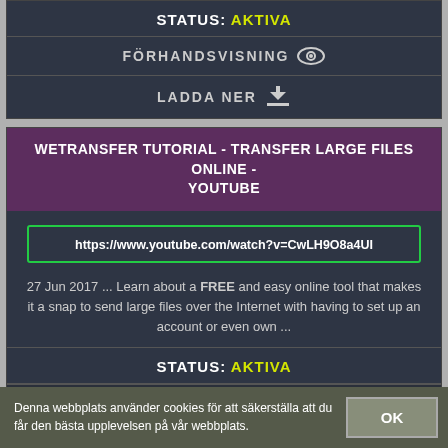STATUS: AKTIVA
FÖRHANDSVISNING
LADDA NER
WETRANSFER TUTORIAL - TRANSFER LARGE FILES ONLINE - YOUTUBE
https://www.youtube.com/watch?v=CwLH9O8a4UI
27 Jun 2017 ... Learn about a FREE and easy online tool that makes it a snap to send large files over the Internet with having to set up an account or even own ...
STATUS: AKTIVA
Denna webbplats använder cookies för att säkerställa att du får den bästa upplevelsen på vår webbplats.